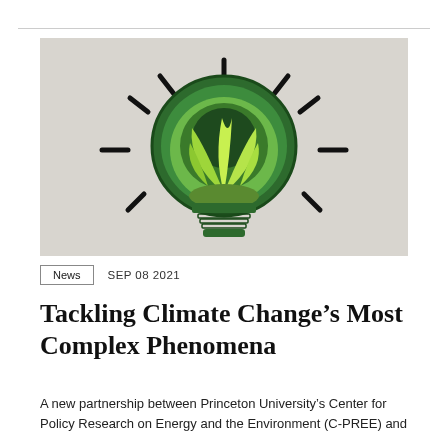[Figure (illustration): Green light bulb illustration with layered green plant leaves inside, on a grey textured background, with black radiating lines suggesting light rays]
News   SEP 08 2021
Tackling Climate Change’s Most Complex Phenomena
A new partnership between Princeton University’s Center for Policy Research on Energy and the Environment (C-PREE) and